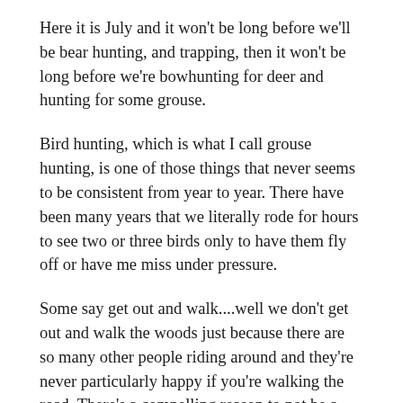Here it is July and it won't be long before we'll be bear hunting, and trapping, then it won't be long before we're bowhunting for deer and hunting for some grouse.
Bird hunting, which is what I call grouse hunting, is one of those things that never seems to be consistent from year to year. There have been many years that we literally rode for hours to see two or three birds only to have them fly off or have me miss under pressure.
Some say get out and walk....well we don't get out and walk the woods just because there are so many other people riding around and they're never particularly happy if you're walking the road. There's a compelling reason to not be a jerk and go around you, but then it prevents others from traveling and hunting the road.